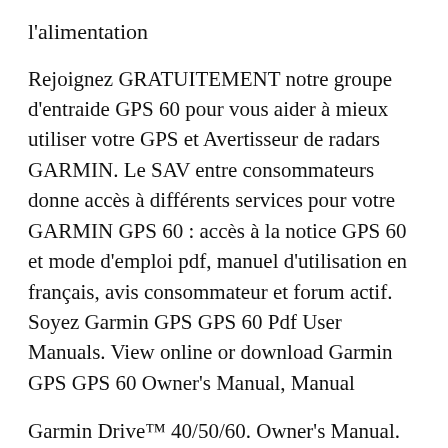l'alimentation
Rejoignez GRATUITEMENT notre groupe d'entraide GPS 60 pour vous aider à mieux utiliser votre GPS et Avertisseur de radars GARMIN. Le SAV entre consommateurs donne accès à différents services pour votre GARMIN GPS 60 : accès à la notice GPS 60 et mode d'emploi pdf, manuel d'utilisation en français, avis consommateur et forum actif. Soyez Garmin GPS GPS 60 Pdf User Manuals. View online or download Garmin GPS GPS 60 Owner's Manual, Manual
Garmin Drive™ 40/50/60. Owner's Manual. TIP: Select to view the table of contents or search. Getting Started, Driver Awareness Features and